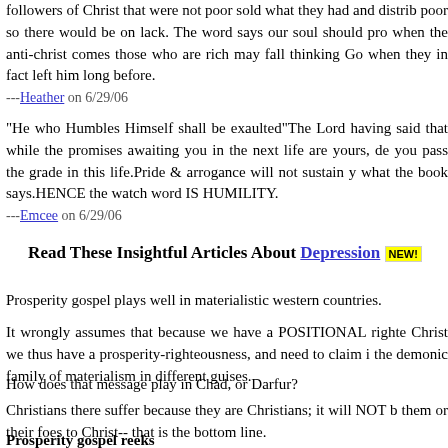followers of Christ that were not poor sold what they had and distrib poor so there would be on lack. The word says our soul should pro when the anti-christ comes those who are rich may fall thinking Go when they in fact left him long before.
---Heather on 6/29/06
"He who Humbles Himself shall be exaulted"The Lord having said that while the promises awaiting you in the next life are yours, de you pass the grade in this life.Pride & arrogance will not sustain y what the book says.HENCE the watch word IS HUMILITY.
---Emcee on 6/29/06
Read These Insightful Articles About Depression NEW!
Prosperity gospel plays well in materialistic western countries.
It wrongly assumes that because we have a POSITIONAL righte Christ we thus have a prosperity-righteousness, and need to claim i the demonic family of materialism in different guises.
How does that message play in Chad, or Darfur?
Christians there suffer because they are Christians; it will NOT b them or their foes to Christ-- that is the bottom line.
Prosperity gospel reeks